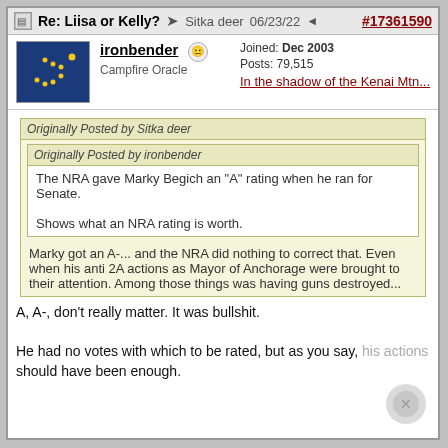Re: Liisa or Kelly? → Sitka deer 06/23/22 #17361590
ironbender | Campfire Oracle | Joined: Dec 2003 | Posts: 79,515 | In the shadow of the Kenai Mtn...
Originally Posted by Sitka deer
Originally Posted by ironbender
The NRA gave Marky Begich an "A" rating when he ran for Senate.

Shows what an NRA rating is worth.

Marky got an A-... and the NRA did nothing to correct that. Even when his anti 2A actions as Mayor of Anchorage were brought to their attention. Among those things was having guns destroyed...
A, A-, don't really matter. It was bullshit.

He had no votes with which to be rated, but as you say, his actions should have been enough.